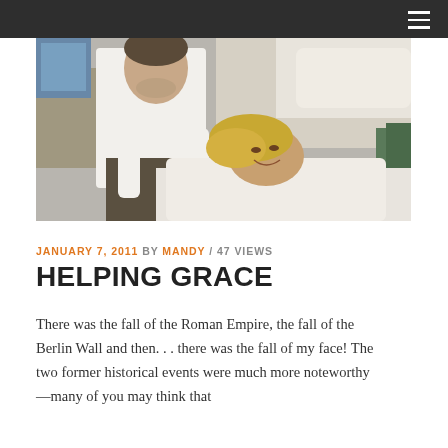[Figure (photo): A man in a white dress shirt stands over a woman who is reclined on a treatment table. The woman has blonde hair and is smiling upward. The setting appears to be a medical or aesthetic treatment room.]
JANUARY 7, 2011 BY MANDY / 47 VIEWS
HELPING GRACE
There was the fall of the Roman Empire, the fall of the Berlin Wall and then. . . there was the fall of my face! The two former historical events were much more noteworthy—many of you may think that